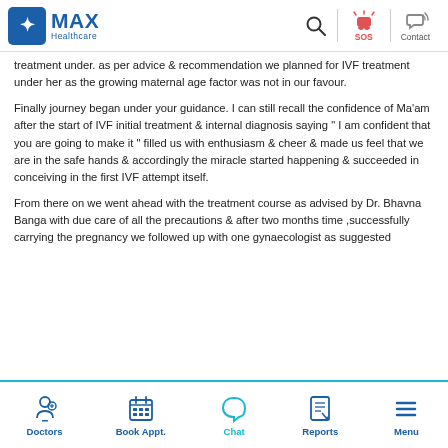MAX Healthcare — Search, SOS, Contact
treatment under. as per advice & recommendation we planned for IVF treatment under her as the growing maternal age factor was not in our favour.
Finally journey began under your guidance. I can still recall the confidence of Ma'am after the start of IVF initial treatment & internal diagnosis saying " I am confident that you are going to make it " filled us with enthusiasm & cheer & made us feel that we are in the safe hands & accordingly the miracle started happening & succeeded in conceiving in the first IVF attempt itself.
From there on we went ahead with the treatment course as advised by Dr. Bhavna Banga with due care of all the precautions & after two months time ,successfully carrying the pregnancy we followed up with one gynaecologist as suggested
Doctors | Book Appt. | Chat | Reports | Menu